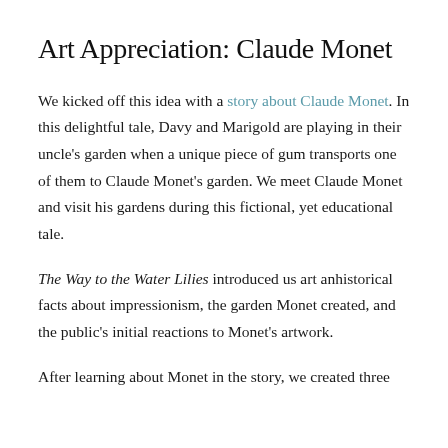Art Appreciation: Claude Monet
We kicked off this idea with a story about Claude Monet. In this delightful tale, Davy and Marigold are playing in their uncle's garden when a unique piece of gum transports one of them to Claude Monet's garden. We meet Claude Monet and visit his gardens during this fictional, yet educational tale.
The Way to the Water Lilies introduced us art anhistorical facts about impressionism, the garden Monet created, and the public's initial reactions to Monet's artwork.
After learning about Monet in the story, we created three…